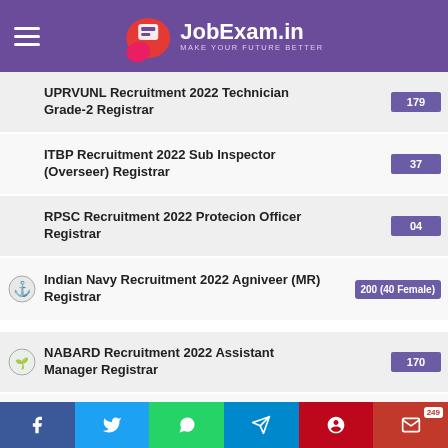JobExam.in - MAKE YOUR FUTURE BETTER
UPRVUNL Recruitment 2022 Technician Grade-2 Registrar
ITBP Recruitment 2022 Sub Inspector (Overseer) Registrar
RPSC Recruitment 2022 Protecion Officer Registrar
Indian Navy Recruitment 2022 Agniveer (MR) Registrar
NABARD Recruitment 2022 Assistant Manager Registrar
TNPSC Recruitment 2022 Assistant Director Registrar
PSPCL Recruitment 2022 Assistant Lineman Registrar
CSIR Recruitment 2022 Junior Secretariat
Facebook | Twitter | WhatsApp | Telegram | Pinterest | Email (249)